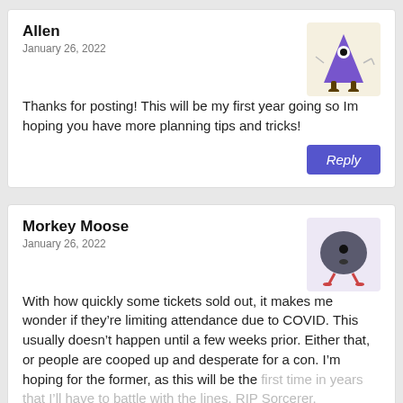Allen
January 26, 2022
Thanks for posting! This will be my first year going so Im hoping you have more planning tips and tricks!
Reply
Morkey Moose
January 26, 2022
With how quickly some tickets sold out, it makes me wonder if they’re limiting attendance due to COVID. This usually doesn’t happen until a few weeks prior. Either that, or people are cooped up and desperate for a con. I’m hoping for the former, as this will be the first time in years that I’ll have to battle with the lines. RIP Sorcerer.